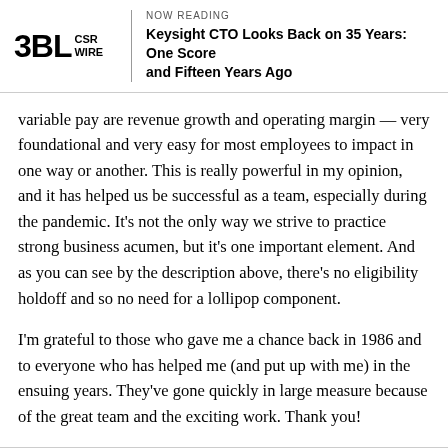NOW READING | Keysight CTO Looks Back on 35 Years: One Score and Fifteen Years Ago
variable pay are revenue growth and operating margin — very foundational and very easy for most employees to impact in one way or another. This is really powerful in my opinion, and it has helped us be successful as a team, especially during the pandemic. It's not the only way we strive to practice strong business acumen, but it's one important element. And as you can see by the description above, there's no eligibility holdoff and so no need for a lollipop component.
I'm grateful to those who gave me a chance back in 1986 and to everyone who has helped me (and put up with me) in the ensuing years. They've gone quickly in large measure because of the great team and the exciting work. Thank you!